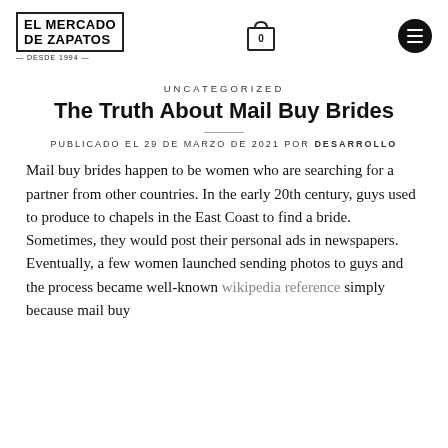El Mercado de Zapatos — logo, cart (0), hamburger menu
UNCATEGORIZED
The Truth About Mail Buy Brides
PUBLICADO EL 29 DE MARZO DE 2021 POR DESARROLLO
Mail buy brides happen to be women who are searching for a partner from other countries. In the early 20th century, guys used to produce to chapels in the East Coast to find a bride. Sometimes, they would post their personal ads in newspapers. Eventually, a few women launched sending photos to guys and the process became well-known wikipedia reference simply because mail buy